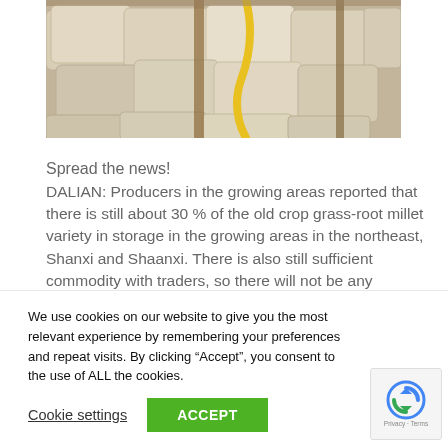[Figure (photo): Interior storage area showing large white sacks/bags stacked, with wooden support beams and a yellow hose or tube visible]
Spread the news!
DALIAN: Producers in the growing areas reported that there is still about 30 % of the old crop grass-root millet variety in storage in the growing areas in the northeast, Shanxi and Shaanxi. There is also still sufficient commodity with traders, so there will not be any shortages at present.n
We use cookies on our website to give you the most relevant experience by remembering your preferences and repeat visits. By clicking “Accept”, you consent to the use of ALL the cookies.